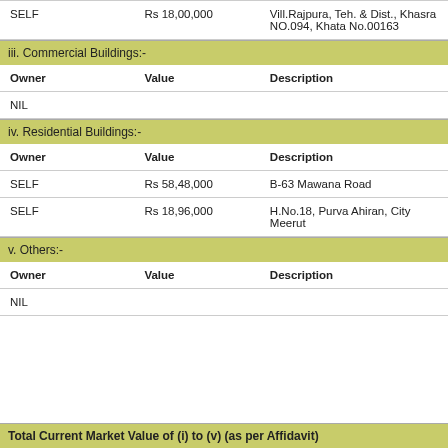| Owner | Value | Description |
| --- | --- | --- |
| SELF | Rs 18,00,000 | Vill.Rajpura, Teh. & Dist., Khasra NO.094, Khata No.00163 |
iii. Commercial Buildings:-
| Owner | Value | Description |
| --- | --- | --- |
| NIL |  |  |
iv. Residential Buildings:-
| Owner | Value | Description |
| --- | --- | --- |
| SELF | Rs 58,48,000 | B-63 Mawana Road |
| SELF | Rs 18,96,000 | H.No.18, Purva Ahiran, City Meerut |
v. Others:-
| Owner | Value | Description |
| --- | --- | --- |
| NIL |  |  |
Total Current Market Value of (i) to (v) (as per Affidavit)